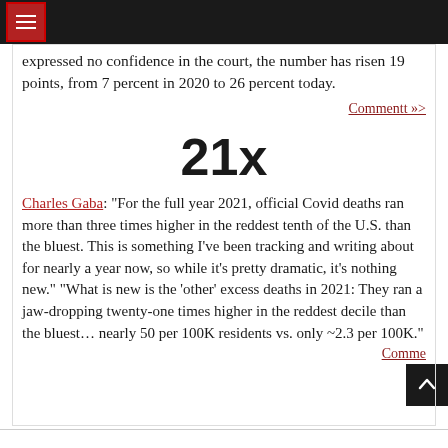expressed no confidence in the court, the number has risen 19 points, from 7 percent in 2020 to 26 percent today.
Commentt »>
21x
Charles Gaba: “For the full year 2021, official Covid deaths ran more than three times higher in the reddest tenth of the U.S. than the bluest. This is something I’ve been tracking and writing about for nearly a year now, so while it’s pretty dramatic, it’s nothing new.” “What is new is the ‘other’ excess deaths in 2021: They ran a jaw-dropping twenty-one times higher in the reddest decile than the bluest… nearly 50 per 100K residents vs. only ~2.3 per 100K.”
Comme